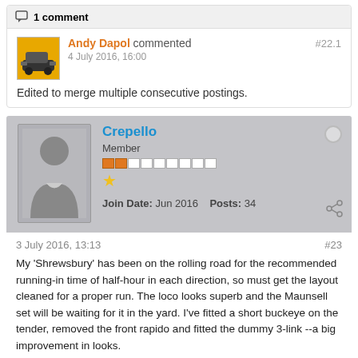1 comment
Andy Dapol commented 4 July 2016, 16:00 #22.1
Edited to merge multiple consecutive postings.
Crepello Member Join Date: Jun 2016 Posts: 34
3 July 2016, 13:13 #23
My 'Shrewsbury' has been on the rolling road for the recommended running-in time of half-hour in each direction, so must get the layout cleaned for a proper run. The loco looks superb and the Maunsell set will be waiting for it in the yard. I've fitted a short buckeye on the tender, removed the front rapido and fitted the dummy 3-link --a big improvement in looks.
Likes 1